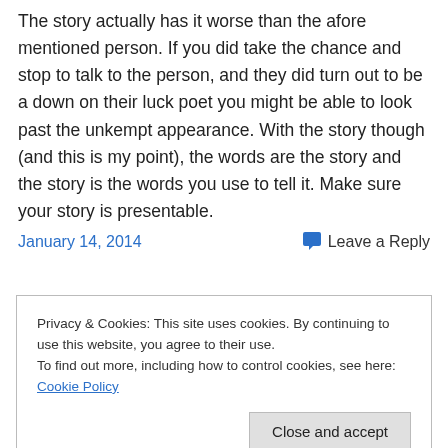The story actually has it worse than the afore mentioned person. If you did take the chance and stop to talk to the person, and they did turn out to be a down on their luck poet you might be able to look past the unkempt appearance. With the story though (and this is my point), the words are the story and the story is the words you use to tell it. Make sure your story is presentable.
January 14, 2014
Leave a Reply
Privacy & Cookies: This site uses cookies. By continuing to use this website, you agree to their use.
To find out more, including how to control cookies, see here: Cookie Policy
Close and accept